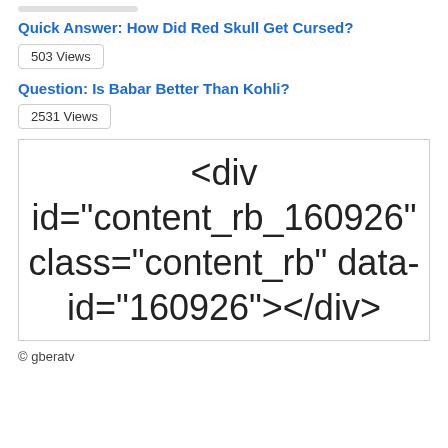Quick Answer: How Did Red Skull Get Cursed?
503 Views
Question: Is Babar Better Than Kohli?
2531 Views
[Figure (screenshot): A box displaying HTML code: <div id="content_rb_160926" class="content_rb" data-id="160926"></div>]
© gberatv